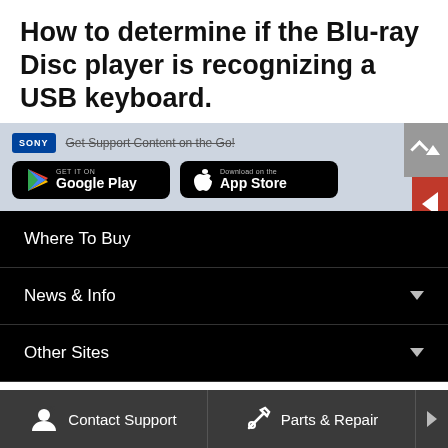How to determine if the Blu-ray Disc player is recognizing a USB keyboard.
[Figure (screenshot): Sony app promotion banner with Google Play and App Store download buttons on a light blue-grey background, with a scroll-up button and a red Feedback tab on the right side.]
Where To Buy
News & Info
Other Sites
Contact Support   Parts & Repair